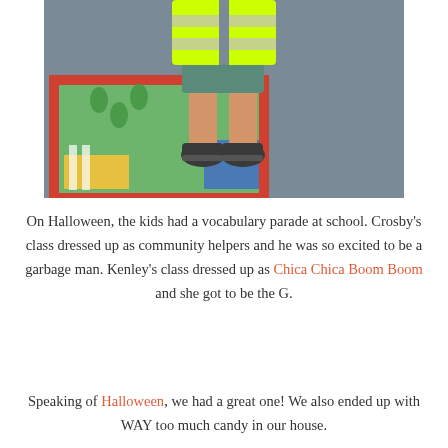[Figure (photo): A child wearing a bright neon yellow/green reflective safety vest standing on a colorful playground mat with footprint patterns. The child is wearing dark sneakers. The playground surface includes a painted mat with red border and yellow, green, and blue sections.]
On Halloween, the kids had a vocabulary parade at school. Crosby's class dressed up as community helpers and he was so excited to be a garbage man. Kenley's class dressed up as Chica Chica Boom Boom and she got to be the G.
Speaking of Halloween, we had a great one! We also ended up with WAY too much candy in our house.